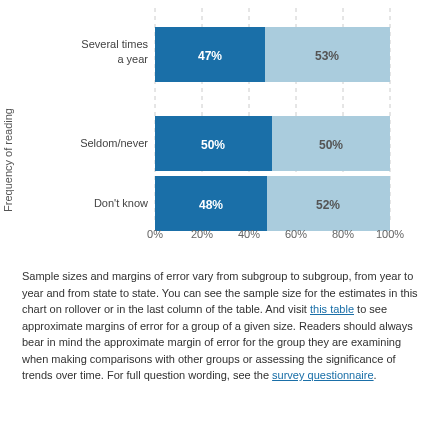[Figure (stacked-bar-chart): Frequency of reading]
Sample sizes and margins of error vary from subgroup to subgroup, from year to year and from state to state. You can see the sample size for the estimates in this chart on rollover or in the last column of the table. And visit this table to see approximate margins of error for a group of a given size. Readers should always bear in mind the approximate margin of error for the group they are examining when making comparisons with other groups or assessing the significance of trends over time. For full question wording, see the survey questionnaire.